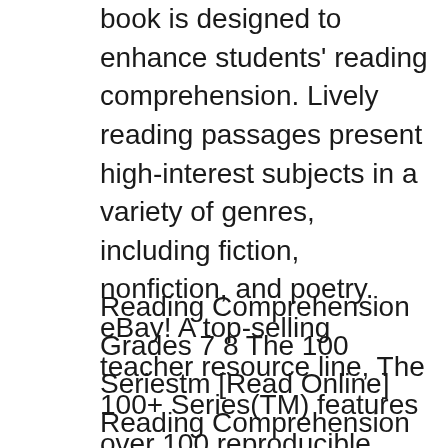book is designed to enhance students' reading comprehension. Lively reading passages present high-interest subjects in a variety of genres, including fiction, nonfiction, and poetry. eBay! A top-selling teacher resource line, The 100+ Series(TM) features over 100 reproducible activities in each book! -- Organized by specific reading skills, this book is designed to enhance students' reading comprehension.
Reading Comprehension Grades 7 8 The 100 Seriestm [Read Online] Reading Comprehension Grades 7 8 The 100 Seriestm PDF Reading Comprehension Grades 5 6 The 100 Series Download reading comprehension grades 7 8 the